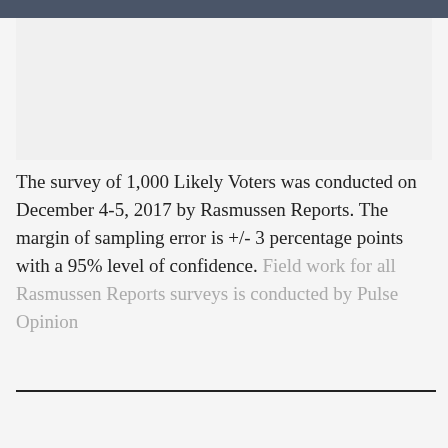[Figure (other): Image placeholder area at the top of the page]
The survey of 1,000 Likely Voters was conducted on December 4-5, 2017 by Rasmussen Reports. The margin of sampling error is +/- 3 percentage points with a 95% level of confidence. Field work for all Rasmussen Reports surveys is conducted by Pulse Opinion